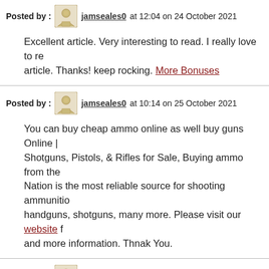Posted by : jamseales0 at 12:04 on 24 October 2021
Excellent article. Very interesting to read. I really love to read this article. Thanks! keep rocking. More Bonuses
Posted by : jamseales0 at 10:14 on 25 October 2021
You can buy cheap ammo online as well buy guns Online | Shotguns, Pistols, & Rifles for Sale, Buying ammo from the Nation is the most reliable source for shooting ammunition handguns, shotguns, many more. Please visit our website for and more information. Thnak You.
Posted by : jamseales0 at 10:59 on 25 October 2021
The UK ECIG STORE has the best range of vape devices and including starter ecig kits and pod vape kits We offer FREE Sign up to our newsletter today and receive 10% OFF your